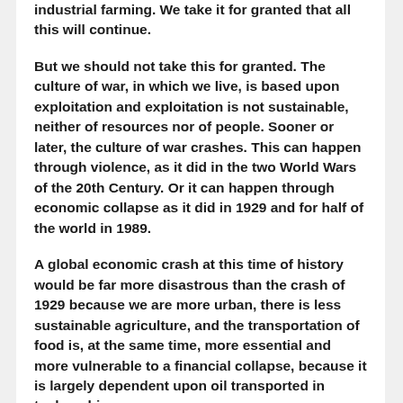industrial farming.  We take it for granted that all this will continue.
But we should not take this for granted.  The culture of war, in which we live, is based upon exploitation and exploitation is not sustainable, neither of resources nor of people.  Sooner or later, the culture of war crashes.  This can happen through violence, as it did in the two World Wars of the 20th Century.  Or it can happen through economic collapse as it did in 1929 and for half of the world in 1989.
A global economic crash at this time of history would be far more disastrous than the crash of 1929 because we are more urban, there is less sustainable agriculture, and the transportation of food is, at the same time, more essential and more vulnerable to a financial collapse, because it is largely dependent upon oil transported in tanker ships.
In the face of this possibility, Johan Galtung, the dean of peace researchers, recommends that we “organize